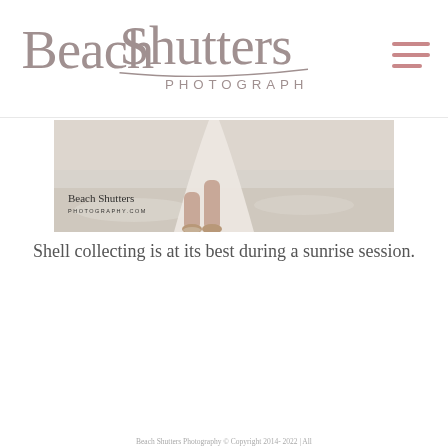Beach Shutters Photography
[Figure (photo): A young child in a white tulle skirt walking on a sandy beach with shallow water. The child's legs and feet are visible against bright white sand. A watermark reads 'Beach Shutters Photography.com' in the lower left corner.]
Shell collecting is at its best during a sunrise session.
Beach Shutters Photography © Copyright 2014- 2022 | All